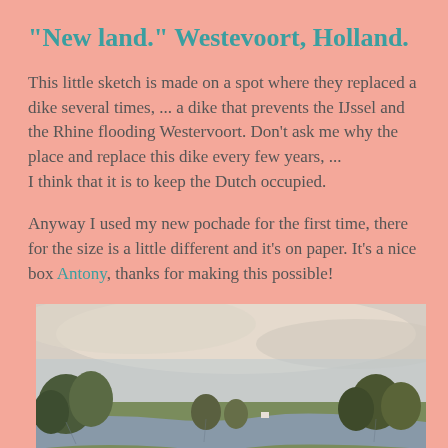"New land." Westevoort, Holland.
This little sketch is made on a spot where they replaced a dike several times, ... a dike that prevents the IJssel and the Rhine flooding Westervoort. Don't ask me why the place and replace this dike every few years, ... I think that it is to keep the Dutch occupied.
Anyway I used my new pochade for the first time, there for the size is a little different and it's on paper. It's a nice box Antony, thanks for making this possible!
[Figure (photo): Landscape painting/sketch of a Dutch riverside scene with trees, water, green fields, and a wide cloudy sky. Painted in muted earthy and gray-blue tones.]